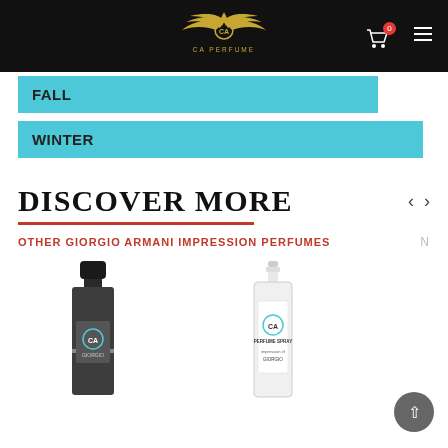CA PERFUME
FALL
WINTER
DISCOVER MORE
OTHER GIORGIO ARMANI IMPRESSION PERFUMES
[Figure (photo): Two CA Perfume product bottles - a dark spray bottle labeled GIORGIO and a clear spray bottle labeled PERFUME SPRAY]
[Figure (logo): CA Perfume gold winged logo with crown]